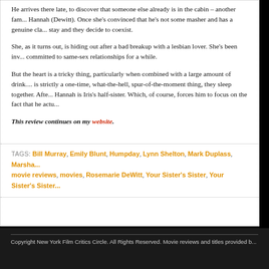He arrives there late, to discover that someone else already is in the cabin – another fam... Hannah (Dewitt). Once she's convinced that he's not some masher and has a genuine cla... stay and they decide to coexist.
She, as it turns out, is hiding out after a bad breakup with a lesbian lover. She's been inv... committed to same-sex relationships for a while.
But the heart is a tricky thing, particularly when combined with a large amount of drink.... is strictly a one-time, what-the-hell, spur-of-the-moment thing, they sleep together. Afte... Hannah is Iris's half-sister. Which, of course, forces him to focus on the fact that he actu...
This review continues on my website.
TAGS: Bill Murray, Emily Blunt, Humpday, Lynn Shelton, Mark Duplass, Marsha... movie reviews, movies, Rosemarie DeWitt, Your Sister's Sister, Your Sister's Sister...
Copyright New York Film Critics Circle. All Rights Reserved. Movie reviews and titles provided b...